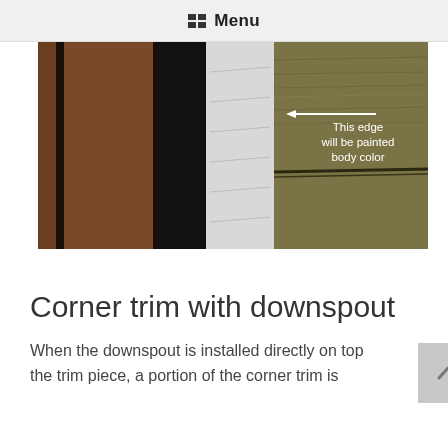Menu
[Figure (photo): Close-up photo of a house corner showing brown corner trim, a black downspout, white painted surface, and olive/brown fiber cement siding. A white arrow points left toward the siding edge with annotation text reading 'This edge will be painted body color'.]
Corner trim with downspout
When the downspout is installed directly on top the trim piece, a portion of the corner trim is